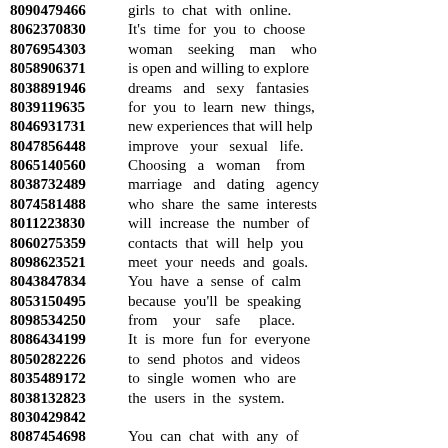8090479466 girls to chat with online.
8062370830 It's time for you to choose
8076954303 woman seeking man who
8058906371 is open and willing to explore
8038891946 dreams and sexy fantasies
8039119635 for you to learn new things,
8046931731 new experiences that will help
8047856448 improve your sexual life.
8065140560 Choosing a woman from
8038732489 marriage and dating agency
8074581488 who share the same interests
8011223830 will increase the number of
8060275359 contacts that will help you
8098623521 meet your needs and goals.
8043847834 You have a sense of calm
8053150495 because you'll be speaking
8098534250 from your safe place.
8086434199 It is more fun for everyone
8050282226 to send photos and videos
8035489172 to single women who are
8038132823 the users in the system.
8030429842
8087454698 You can chat with any of
8094294634 single and looking for marriage
8049857988 and nobody will really know.